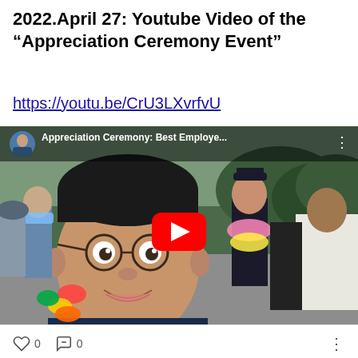2022.April 27: Youtube Video of the "Appreciation Ceremony Event"
https://youtu.be/CrU3LXvrfvU
[Figure (screenshot): YouTube video thumbnail showing an appreciation ceremony event. A man wearing round glasses and colorful flower leis is taking a selfie. In the background, people in a parade scene with a police officer wearing flower garlands. YouTube overlay bar shows 'Appreciation Ceremony: Best Employe...' with a channel avatar and the red YouTube play button in the center.]
0   0